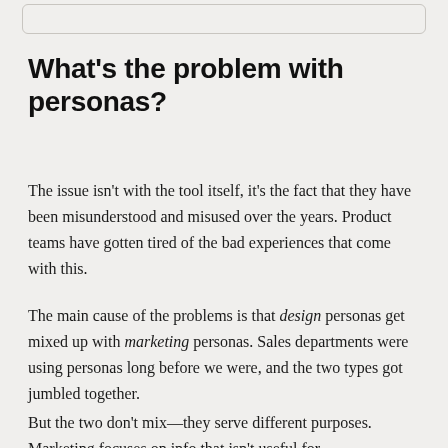What's the problem with personas?
The issue isn't with the tool itself, it's the fact that they have been misunderstood and misused over the years. Product teams have gotten tired of the bad experiences that come with this.
The main cause of the problems is that design personas get mixed up with marketing personas. Sales departments were using personas long before we were, and the two types got jumbled together.
But the two don't mix—they serve different purposes. Marketing focuses on info that isn't useful for